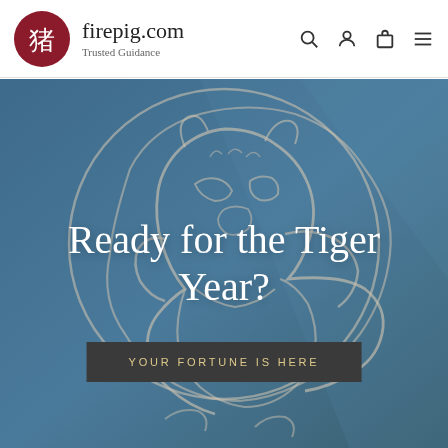firepig.com – Trusted Guidance
[Figure (illustration): Website screenshot of firepig.com with a tiger zodiac illustration on a dark teal/blue background. A large circular line-art drawing of a tiger's head and upper body in muted beige/gray tones is centered on the hero section.]
Ready for the Tiger Year?
YOUR FORTUNE IS HERE